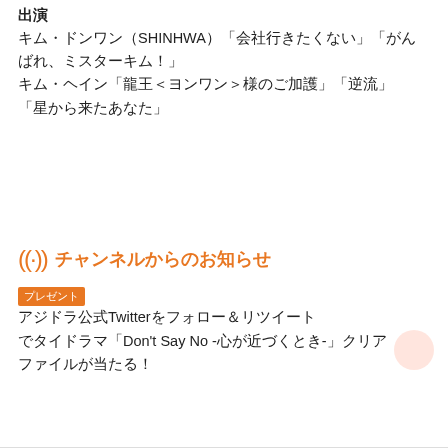出演
キム・ドンワン（SHINHWA）「会社行きたくない」「がんばれ、ミスターキム！」
キム・ヘイン「龍王＜ヨンワン＞様のご加護」「逆流」「星から来たあなた」
チャンネルからのお知らせ
アジドラ公式Twitterをフォロー＆リツイートでタイドラマ「Don't Say No -心が近づくとき-」クリアファイルが当たる！